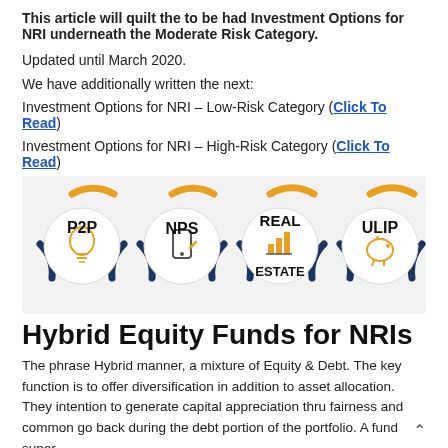This article will quilt the to be had Investment Options for NRI underneath the Moderate Risk Category.
Updated until March 2020.
We have additionally written the next:
Investment Options for NRI – Low-Risk Category (Click To Read)
Investment Options for NRI – High-Risk Category (Click To Read)
[Figure (infographic): Four circular icons representing investment options: P2P (lightbulb icon), NPS (mobile phone icon), REAL ESTATE (bar chart icon), ULIP (piggy bank icon). Each circle has dark navy and orange arc decorations around it.]
Hybrid Equity Funds for NRIs
The phrase Hybrid manner, a mixture of Equity & Debt. The key function is to offer diversification in addition to asset allocation. They intention to generate capital appreciation thru fairness and common go back during the debt portion of the portfolio. A fund super